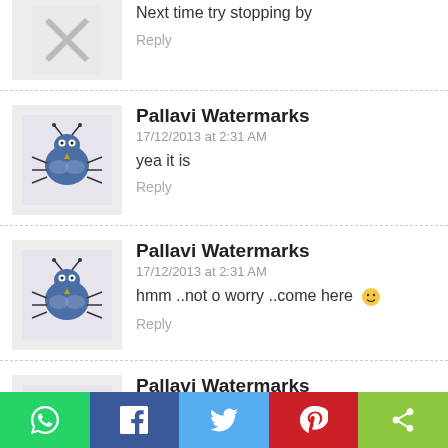Next time try stopping by
Reply
Pallavi Watermarks
17/12/2013 at 2:31 AM
yea it is
Reply
Pallavi Watermarks
17/12/2013 at 2:31 AM
hmm ..not o worry ..come here 🙂
Reply
Pallavi Watermarks
17/12/2013 at 2:30 AM
You should def go and visit some amusement park
[Figure (infographic): Social media share bar with WhatsApp, Facebook, Twitter, Pinterest, and generic share buttons]